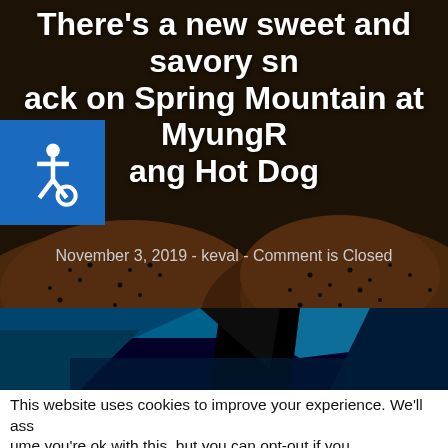There's a new sweet and savory snack on Spring Mountain at MyungRang Hot Dog
November 3, 2019 - keval - Comment is Closed
[Figure (photo): Close-up photograph of breaded/fried food items (hot dogs or snacks) with sesame seeds on a dark background, with a TV station logo graphic below, and a blue accessibility icon overlay in the upper left]
This website uses cookies to improve your experience. We'll assume you're ok with this, but you can opt-out if you wish. Cookie settings ACCEPT